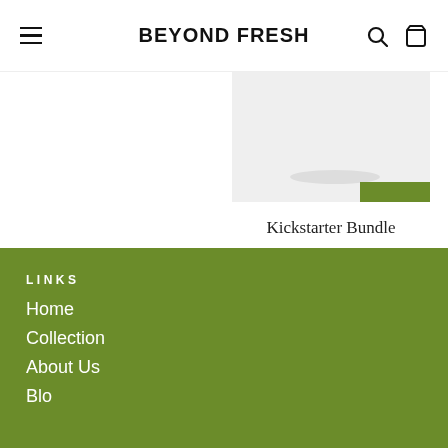BEYOND FRESH
[Figure (photo): Product image for Kickstarter Bundle showing plate and green accent element on light grey background]
Kickstarter Bundle
$100.00
LINKS
Home
Collection
About Us
Blog